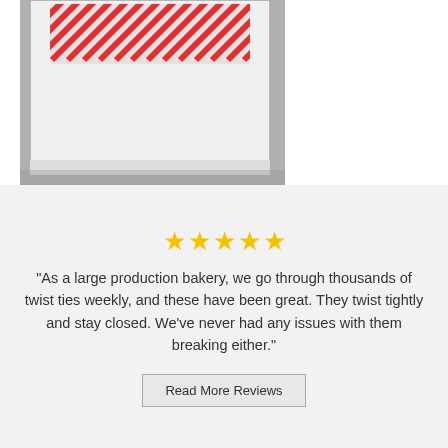[Figure (photo): A white box containing red and white striped twist ties, shown from above at slight angle on a gray background.]
[Figure (infographic): Five gold star rating icons displayed in a row.]
"As a large production bakery, we go through thousands of twist ties weekly, and these have been great. They twist tightly and stay closed. We've never had any issues with them breaking either."
Read More Reviews